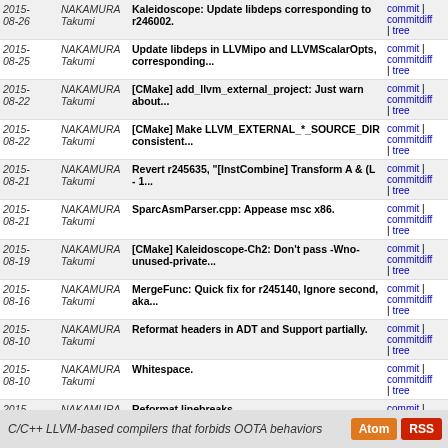| Date | Author | Message | Links |
| --- | --- | --- | --- |
| 2015-08-26 | NAKAMURA Takumi | Kaleidoscope: Update libdeps corresponding to r246002. | commit | commitdiff | tree |
| 2015-08-25 | NAKAMURA Takumi | Update libdeps in LLVMipo and LLVMScalarOpts, corresponding... | commit | commitdiff | tree |
| 2015-08-22 | NAKAMURA Takumi | [CMake] add_llvm_external_project: Just warn about... | commit | commitdiff | tree |
| 2015-08-22 | NAKAMURA Takumi | [CMake] Make LLVM_EXTERNAL_*_SOURCE_DIR consistent... | commit | commitdiff | tree |
| 2015-08-21 | NAKAMURA Takumi | Revert r245635, "[InstCombine] Transform A & (L - 1... | commit | commitdiff | tree |
| 2015-08-21 | NAKAMURA Takumi | SparcAsmParser.cpp: Appease msc x86. | commit | commitdiff | tree |
| 2015-08-19 | NAKAMURA Takumi | [CMake] Kaleidoscope-Ch2: Don't pass -Wno-unused-private... | commit | commitdiff | tree |
| 2015-08-16 | NAKAMURA Takumi | MergeFunc: Quick fix for r245140, Ignore second, aka... | commit | commitdiff | tree |
| 2015-08-10 | NAKAMURA Takumi | Reformat headers in ADT and Support partially. | commit | commitdiff | tree |
| 2015-08-10 | NAKAMURA Takumi | Whitespace. | commit | commitdiff | tree |
| 2015-08-10 | NAKAMURA Takumi | Reformat linebreaks. | commit | commitdiff | tree |
next
C/C++ LLVM-based compilers that forbids OOTA behaviors  Atom  RSS